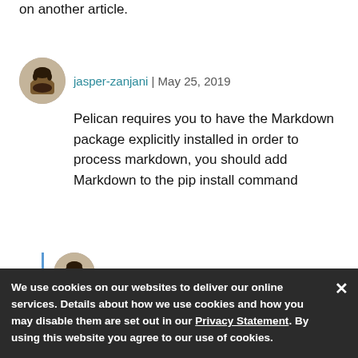on another article.
jasper-zanjani | May 25, 2019
Pelican requires you to have the Markdown package explicitly installed in order to process markdown, you should add Markdown to the pip install command
jasper-zanjani | May 25, 2019
` pip install Markdown`
We use cookies on our websites to deliver our online services. Details about how we use cookies and how you may disable them are set out in our Privacy Statement. By using this website you agree to our use of cookies.